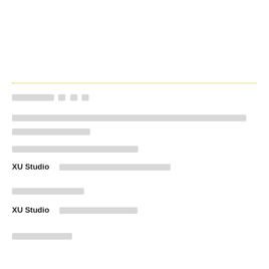[redacted/placeholder text]
[redacted/placeholder text block - two lines]
[redacted/placeholder text - one line]
XU Studio  [redacted/placeholder text]
[redacted/placeholder text]
XU Studio  [redacted/placeholder text]
[redacted/placeholder text]